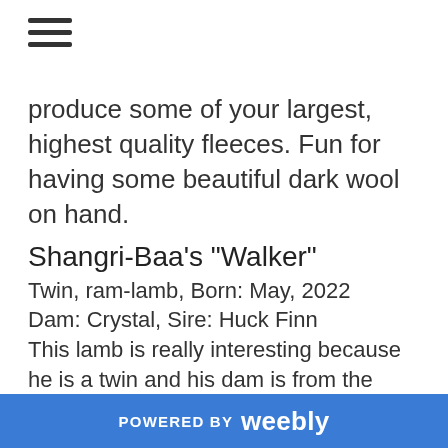[Figure (other): Hamburger menu icon (three horizontal lines)]
produce some of your largest, highest quality fleeces. Fun for having some beautiful dark wool on hand.
Shangri-Baa's "Walker"
Twin, ram-lamb, Born: May, 2022
Dam: Crystal, Sire: Huck Finn
This lamb is really interesting because he is a twin and his dam is from the historic Pate line and shows unusually high heat tolerance and hardiness against worms. His dam is not registered yet, his father is in the database.
POWERED BY weebly